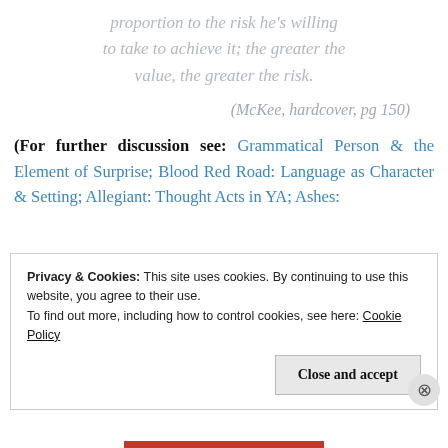proportion to the risk he's willing to take to achieve it; the greater the value, the greater the risk.
(McKee, hardcover, pg 150)
(For further discussion see: Grammatical Person & the Element of Surprise; Blood Red Road: Language as Character & Setting; Allegiant: Thought Acts in YA; Ashes:
Privacy & Cookies: This site uses cookies. By continuing to use this website, you agree to their use. To find out more, including how to control cookies, see here: Cookie Policy
Close and accept